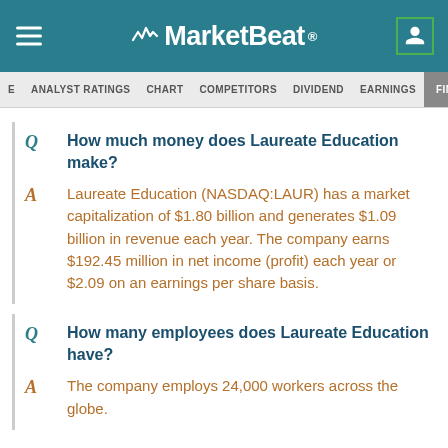MarketBeat
ANALYST RATINGS  CHART  COMPETITORS  DIVIDEND  EARNINGS  FINAN
Q  How much money does Laureate Education make?
A  Laureate Education (NASDAQ:LAUR) has a market capitalization of $1.80 billion and generates $1.09 billion in revenue each year. The company earns $192.45 million in net income (profit) each year or $2.09 on an earnings per share basis.
Q  How many employees does Laureate Education have?
A  The company employs 24,000 workers across the globe.